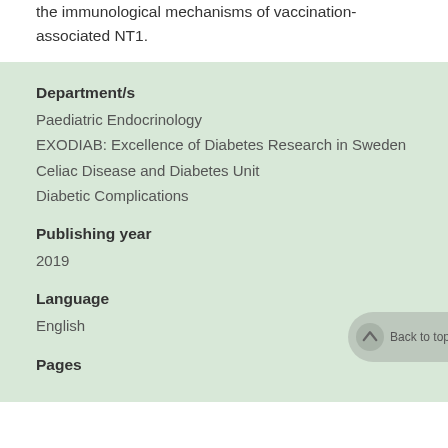the immunological mechanisms of vaccination-associated NT1.
Department/s
Paediatric Endocrinology
EXODIAB: Excellence of Diabetes Research in Sweden
Celiac Disease and Diabetes Unit
Diabetic Complications
Publishing year
2019
Language
English
Pages